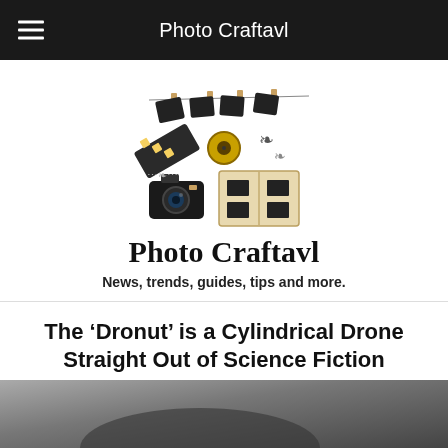Photo Craftavl
[Figure (logo): Photo Craftavl logo: photography-related items including film strips, photo prints on a clothesline, a camera, film roll, decorative swirls, and an open photo album]
Photo Craftavl
News, trends, guides, tips and more.
The ‘Dronut’ is a Cylindrical Drone Straight Out of Science Fiction
November 23, 2021
[Figure (photo): Partial view of a dark cylindrical drone object (the Dronut), bottom of the page]